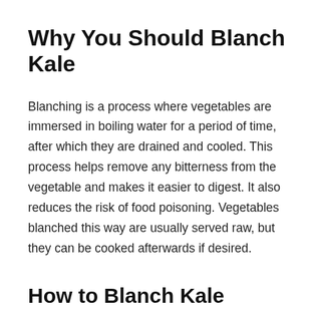Why You Should Blanch Kale
Blanching is a process where vegetables are immersed in boiling water for a period of time, after which they are drained and cooled. This process helps remove any bitterness from the vegetable and makes it easier to digest. It also reduces the risk of food poisoning. Vegetables blanched this way are usually served raw, but they can be cooked afterwards if desired.
How to Blanch Kale